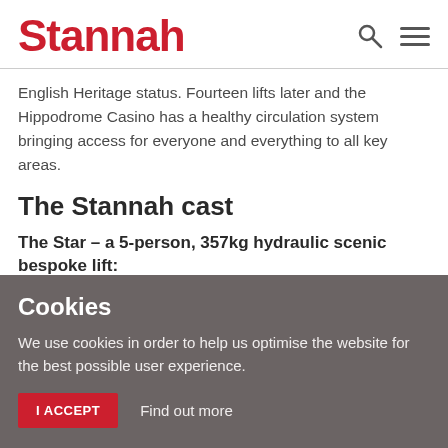Stannah
English Heritage status. Fourteen lifts later and the Hippodrome Casino has a healthy circulation system bringing access for everyone and everything to all key areas.
The Stannah cast
The Star – a 5-person, 357kg hydraulic scenic bespoke lift:
Installed in association lifts left and retaining the original 1980...
Cookies
We use cookies in order to help us optimise the website for the best possible user experience.
I ACCEPT   Find out more